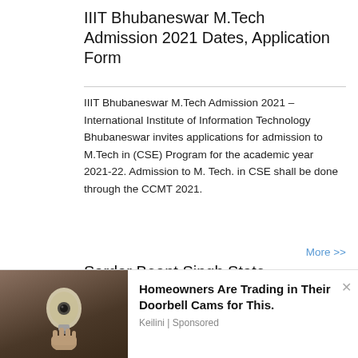IIIT Bhubaneswar M.Tech Admission 2021 Dates, Application Form
IIIT Bhubaneswar M.Tech Admission 2021 – International Institute of Information Technology Bhubaneswar invites applications for admission to M.Tech in (CSE) Program for the academic year 2021-22. Admission to M. Tech. in CSE shall be done through the CCMT 2021.
More >>
Sardar Beant Singh State University Gurdaspur Admission 2021 Application Form, Dates, Courses, Eligibility
SBSSU Gurdaspur Admission 2021 – Sardar Beant Singh State University Gurdaspur formerly known as
[Figure (photo): Advertisement banner showing a hand holding a smart light bulb camera with text 'Homeowners Are Trading in Their Doorbell Cams for This.' from Keilini | Sponsored]